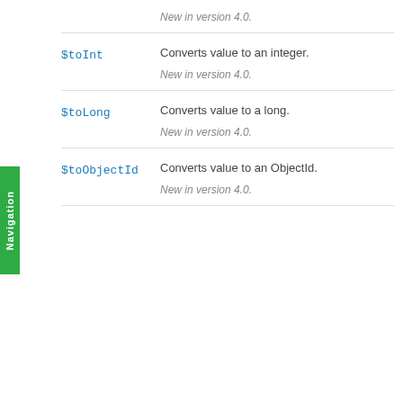New in version 4.0.
$toInt
Converts value to an integer.
New in version 4.0.
$toLong
Converts value to a long.
New in version 4.0.
$toObjectId
Converts value to an ObjectId.
New in version 4.0.